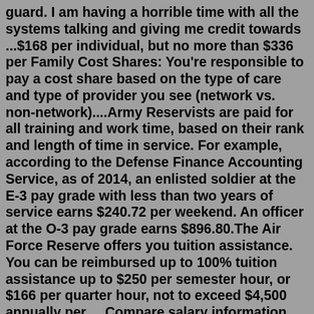guard. I am having a horrible time with all the systems talking and giving me credit towards ...$168 per individual, but no more than $336 per Family Cost Shares: You're responsible to pay a cost share based on the type of care and type of provider you see (network vs. non-network)....Army Reservists are paid for all training and work time, based on their rank and length of time in service. For example, according to the Defense Finance Accounting Service, as of 2014, an enlisted soldier at the E-3 pay grade with less than two years of service earns $240.72 per weekend. An officer at the O-3 pay grade earns $896.80.The Air Force Reserve offers you tuition assistance. You can be reimbursed up to 100% tuition assistance up to $250 per semester hour, or $166 per quarter hour, not to exceed $4,500 annually per ... Compare salary information for U.S. Air Force and U.S. Army Reserve. Salaries are taken from job posts or reported by employees and are not adjusted for level or location. Human resources specialist. $78,243